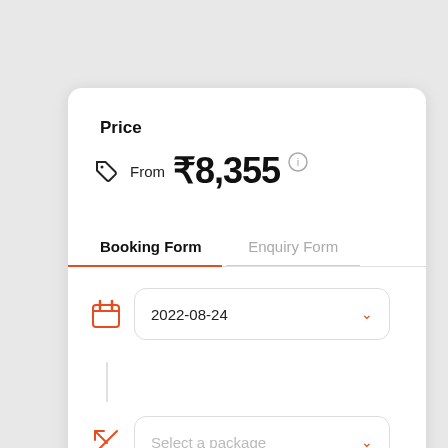Price
From ₹8,355
Booking Form
Enquiry Form
2022-08-24
Select a package